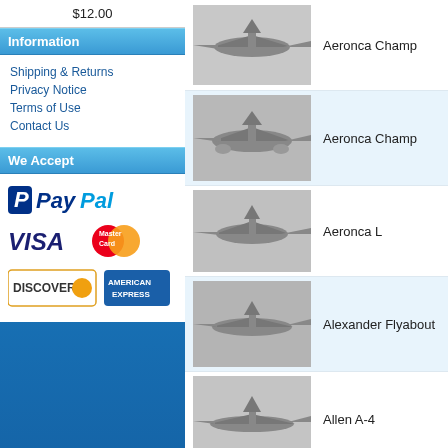$12.00
Information
Shipping & Returns
Privacy Notice
Terms of Use
Contact Us
We Accept
[Figure (logo): PayPal logo]
[Figure (logo): Visa and MasterCard logos]
[Figure (logo): Discover and American Express logos]
[Figure (photo): Black and white photo of Aeronca Champ aircraft on ground]
Aeronca Champ
[Figure (photo): Black and white photo of Aeronca Champ aircraft in flight]
Aeronca Champ
[Figure (photo): Black and white photo of Aeronca L aircraft]
Aeronca L
[Figure (photo): Black and white photo of Alexander Flyabout aircraft]
Alexander Flyabout
[Figure (photo): Black and white photo of Allen A-4 aircraft]
Allen A-4